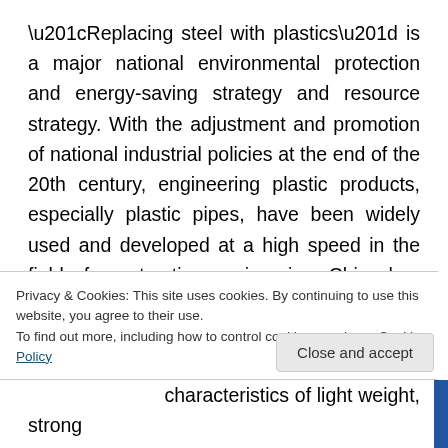“Replacing steel with plastics” is a major national environmental protection and energy-saving strategy and resource strategy. With the adjustment and promotion of national industrial policies at the end of the 20th century, engineering plastic products, especially plastic pipes, have been widely used and developed at a high speed in the field of construction engineering. China has also issued a series of standards and specifications, such as technical specifications for drainage, storage and
Privacy & Cookies: This site uses cookies. By continuing to use this website, you agree to their use. To find out more, including how to control cookies, see here: Cookie Policy
Close and accept
characteristics of light weight, strong...